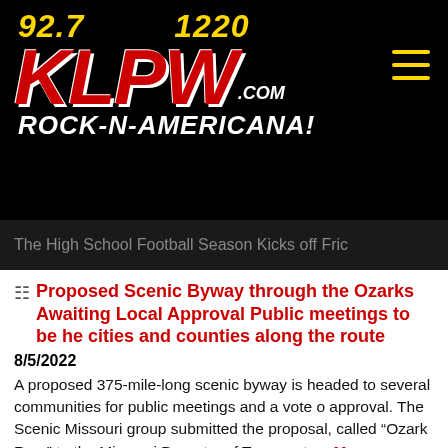[Figure (logo): KLPW Radio logo with frequencies 92.7 and 1220, red KLPW letters with .com, tagline ROCK-N-AMERICANA! on black background]
The High School Football Season Kicks off Fric
Proposed Scenic Byway through the Ozarks Awaiting Local Approval Public meetings to be he cities and counties along the route
8/5/2022
A proposed 375-mile-long scenic byway is headed to several communities for public meetings and a vote o approval. The Scenic Missouri group submitted the proposal, called “Ozark Run,” to the Missouri Departm of Transporte... More